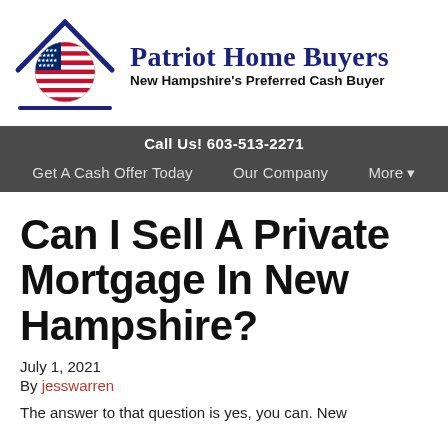[Figure (logo): Patriot Home Buyers logo: house outline with American flag circle inside, blue roof lines, with company name 'Patriot Home Buyers' and tagline 'New Hampshire's Preferred Cash Buyer']
Call Us! 603-513-2271
Get A Cash Offer Today   Our Company   More ▼
Can I Sell A Private Mortgage In New Hampshire?
July 1, 2021
By jesswarren
The answer to that question is yes, you can. New